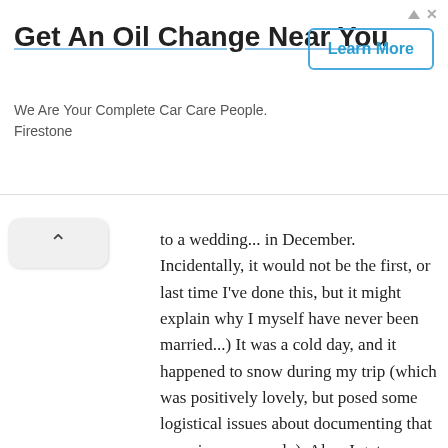[Figure (other): Advertisement banner for Firestone oil change service with title 'Get An Oil Change Near You', subtitle 'We Are Your Complete Car Care People. Firestone', and a 'Learn More' button]
to a wedding... in December. Incidentally, it would not be the first, or last time I've done this, but it might explain why I myself have never been married...) It was a cold day, and it happened to snow during my trip (which was positively lovely, but posed some logistical issues about documenting that experience properly). Also, I got dumped and taken for a ride twice down Monastery Falls, the biggest rapids on this trip, a solid Class III chute with a monster of a hole. So, between wanting to document this trip right, and trying my luck once more (and maybe redeeming my street cred with the hip